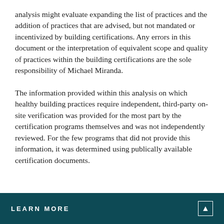analysis might evaluate expanding the list of practices and the addition of practices that are advised, but not mandated or incentivized by building certifications. Any errors in this document or the interpretation of equivalent scope and quality of practices within the building certifications are the sole responsibility of Michael Miranda.
The information provided within this analysis on which healthy building practices require independent, third-party on-site verification was provided for the most part by the certification programs themselves and was not independently reviewed. For the few programs that did not provide this information, it was determined using publically available certification documents.
LEARN MORE